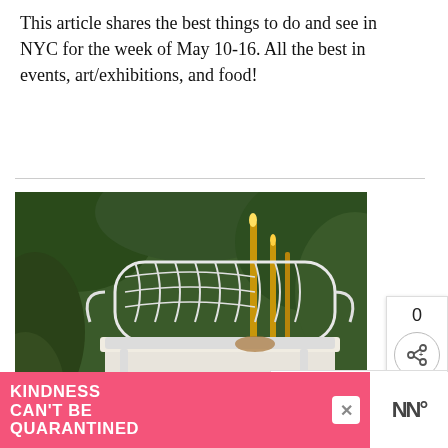This article shares the best things to do and see in NYC for the week of May 10-16. All the best in events, art/exhibitions, and food!
[Figure (photo): Outdoor garden table setting with a white ornate metal bench/chair in the foreground, a table with a white tablecloth, gold candelabras with candles, surrounded by lush green foliage and flowers.]
WHAT'S NEXT → What to wear in NYC by...
KINDNESS CAN'T BE QUARANTINED